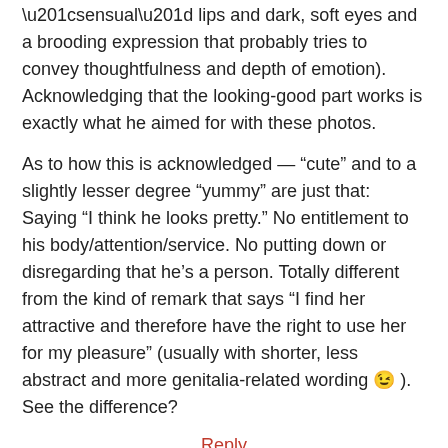“sensual” lips and dark, soft eyes and a brooding expression that probably tries to convey thoughtfulness and depth of emotion).
Acknowledging that the looking-good part works is exactly what he aimed for with these photos.
As to how this is acknowledged — “cute” and to a slightly lesser degree “yummy” are just that: Saying “I think he looks pretty.” No entitlement to his body/attention/service. No putting down or disregarding that he’s a person. Totally different from the kind of remark that says “I find her attractive and therefore have the right to use her for my pleasure” (usually with shorter, less abstract and more genitalia-related wording 😉 ).
See the difference?
Reply
Kilian Hekhuis says
May 3, 2013 at 4:28 pm
“See the difference?” – Not quite. Again, this blogpost was